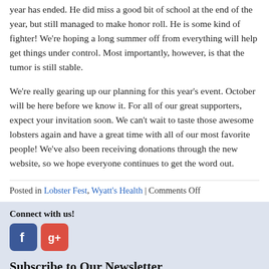year has ended. He did miss a good bit of school at the end of the year, but still managed to make honor roll. He is some kind of fighter! We're hoping a long summer off from everything will help get things under control. Most importantly, however, is that the tumor is still stable.
We're really gearing up our planning for this year's event. October will be here before we know it. For all of our great supporters, expect your invitation soon. We can't wait to taste those awesome lobsters again and have a great time with all of our most favorite people! We've also been receiving donations through the new website, so we hope everyone continues to get the word out.
Posted in Lobster Fest, Wyatt's Health | Comments Off
Connect with us!
Subscribe to Our Newsletter